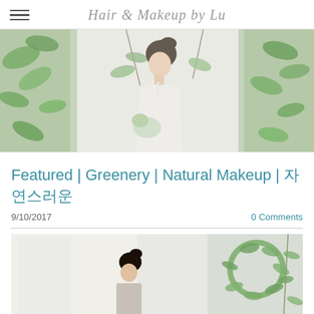Hair & Makeup by Lu
[Figure (photo): Woman in white dress with updo hairstyle surrounded by green hanging leaves and plants against a white background]
Featured | Greenery | Natural Makeup | 자연스러운
9/10/2017    0 Comments
[Figure (photo): Woman with dark hair sitting near a window with greenery wreath and hanging plants in white room]